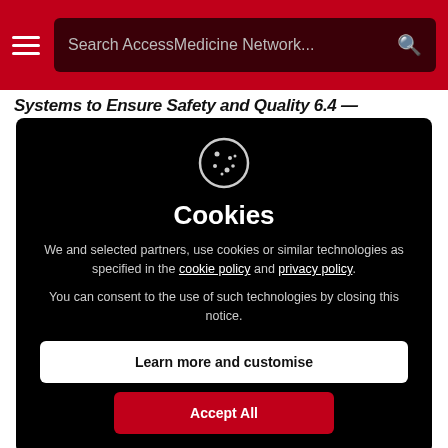Search AccessMedicine Network...
Systems to Ensure Safety and Quality 6.4 —
[Figure (screenshot): Cookie consent modal dialog on AccessMedicine Network website. Dark black modal with a cookie icon at top, title 'Cookies', body text about cookie policy and privacy policy with hyperlinks, a 'Learn more and customise' white button, and an 'Accept All' red button.]
Cookies
We and selected partners, use cookies or similar technologies as specified in the cookie policy and privacy policy.
You can consent to the use of such technologies by closing this notice.
Learn more and customise
Accept All